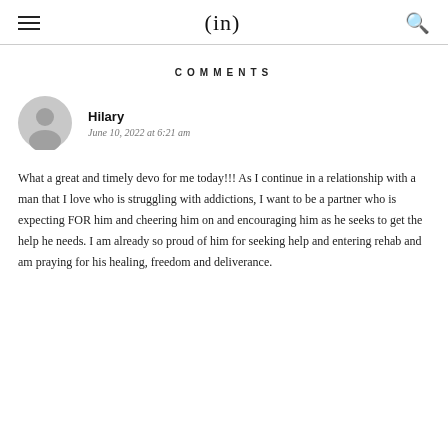(in)
COMMENTS
Hilary
June 10, 2022 at 6:21 am
What a great and timely devo for me today!!! As I continue in a relationship with a man that I love who is struggling with addictions, I want to be a partner who is expecting FOR him and cheering him on and encouraging him as he seeks to get the help he needs. I am already so proud of him for seeking help and entering rehab and am praying for his healing, freedom and deliverance.